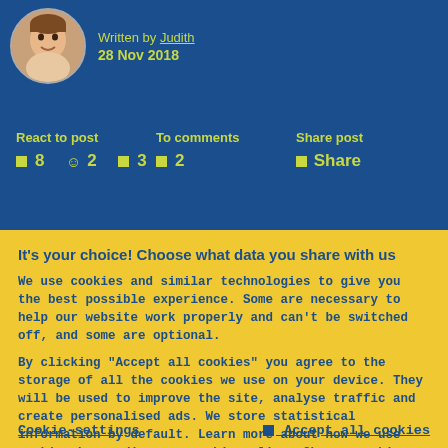Written by Judith
28 Nov 2018
React to post
🟨8  😊2  🟨3
To comments
🟨2
Share post
🟨 Share
It's your choice! Choose what data you share with us
We use cookies and similar technologies to give you the best possible experience. Some are necessary to help our website work properly and can't be switched off, and some are optional.
By clicking "Accept all cookies" you agree to the storage of all the cookies we use on your device. They will be used to improve the site, analyse traffic and create personalised ads. We store statistical information by default. Learn more about how we use cookies by reading our cookie policy. Choose cookie-settings to adjust your preferences.
Cookie-settings    ☑ Accept all cookies